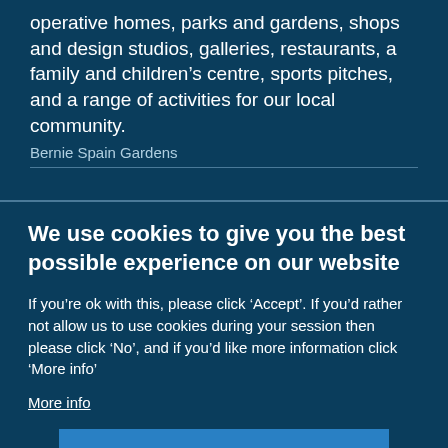operative homes, parks and gardens, shops and design studios, galleries, restaurants, a family and children's centre, sports pitches, and a range of activities for our local community.
Bernie Spain Gardens
We use cookies to give you the best possible experience on our website
If you’re ok with this, please click ‘Accept’. If you’d rather not allow us to use cookies during your session then please click ‘No’, and if you’d like more information click ‘More info’
More info
Accept →
No, thanks →